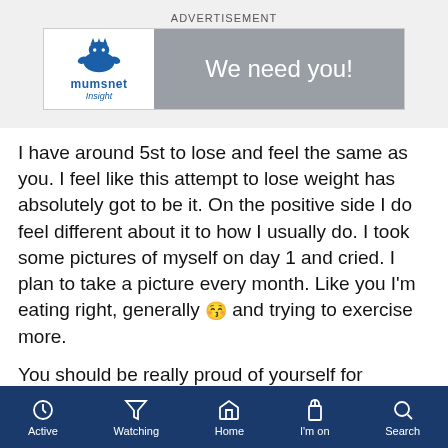[Figure (screenshot): Mumsnet Insight advertisement banner with blue logo on white left panel and 'We need you!' text on grey right panel]
I have around 5st to lose and feel the same as you. I feel like this attempt to lose weight has absolutely got to be it. On the positive side I do feel different about it to how I usually do. I took some pictures of myself on day 1 and cried. I plan to take a picture every month. Like you I'm eating right, generally 😚 and trying to exercise more.
You should be really proud of yourself for managing 10 days, you're past the worst bit imo. If you are doing what you say you are you will see a great result. If you don't it will be disheartening but I think you'did have good grounds to see your gp to check there's nothing medical affecting
Active   Watching   Home   I'm on   Search